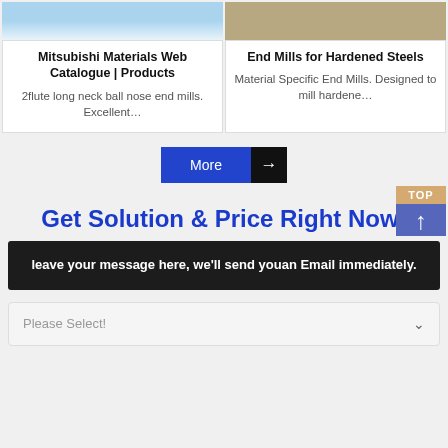[Figure (photo): Top portion of a product card image (blue/yellow colors, likely end mill product)]
[Figure (photo): Top portion of a product card image (tan/brown, hardened steel product)]
Mitsubishi Materials Web Catalogue | Products
2flute long neck ball nose end mills. Excellent…
End Mills for Hardened Steels
Material Specific End Mills. Designed to mill hardene…
More →
TOP ↑
Get Solution & Price Right Now!
leave your message here, we'll send youan Email immediately.
Please Select!